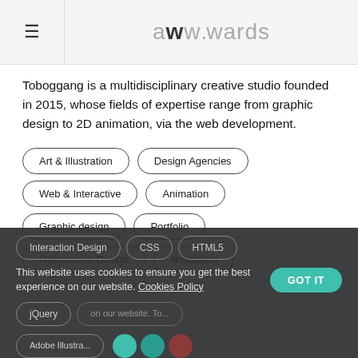awwwards
Toboggang is a multidisciplinary creative studio founded in 2015, whose fields of expertise range from graphic design to 2D animation, via the web development.
Art & Illustration
Design Agencies
Web & Interactive
Animation
Graphic design
Portfolio
Responsive Design
Illustration
Interaction Design
CSS
HTML5
jQuery
This website uses cookies to ensure you get the best experience on our website. Cookies Policy
GOT IT